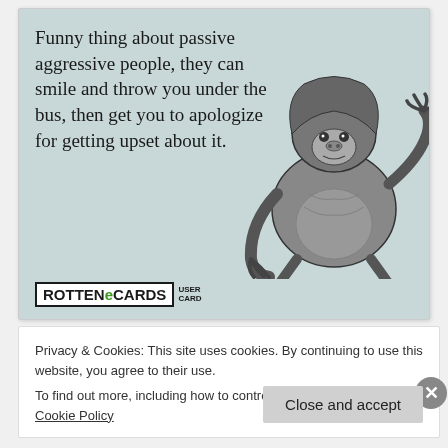[Figure (illustration): A Rotten eCards user card with a light teal background. Text reads: 'Funny thing about passive aggressive people, they can smile and throw you under the bus, then get you to apologize for getting upset about it.' A black-and-white illustration of a gorilla in a shrugging pose is on the right side. The Rotten eCards logo with 'USER CARD' text is in the bottom left.]
Privacy & Cookies: This site uses cookies. By continuing to use this website, you agree to their use.
To find out more, including how to control cookies, see here: Cookie Policy